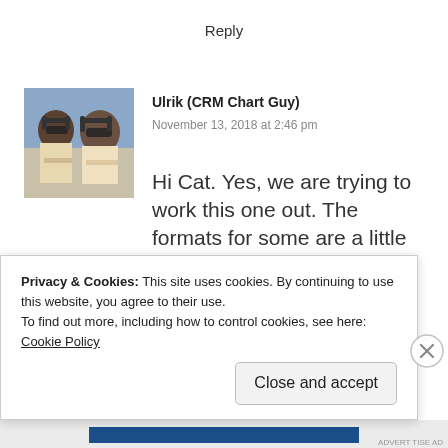Reply
[Figure (photo): Avatar photo of Ulrik (CRM Chart Guy) — two people wearing sunglasses and headsets, outdoors]
Ulrik (CRM Chart Guy)
November 13, 2018 at 2:46 pm
Hi Cat. Yes, we are trying to work this one out. The formats for some are a little different and causes some issues. For now, you can select the step just prior to Change Type and manually format the custom date fields...DateTimeZone...
Privacy & Cookies: This site uses cookies. By continuing to use this website, you agree to their use.
To find out more, including how to control cookies, see here: Cookie Policy
Close and accept